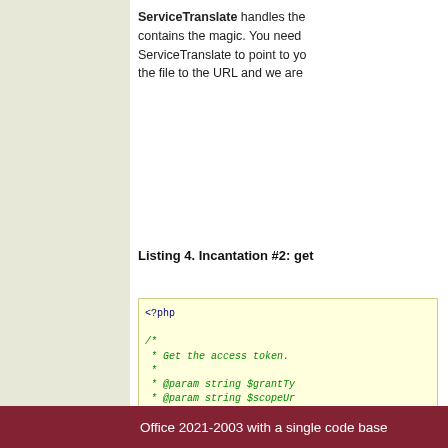ServiceTranslate handles the... contains the magic. You need ... ServiceTranslate to point to yo... the file to the URL and we are...
Listing 4. Incantation #2: get...
[Figure (screenshot): PHP code listing showing getTokens function with try block, including comments with @param and @return annotations. Code shown with syntax highlighting on light yellow background.]
Office 2021-2003 with a single code base